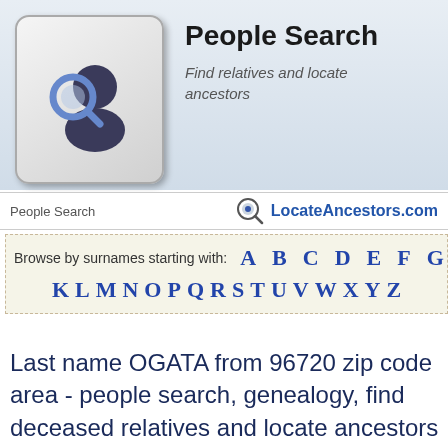[Figure (logo): People Search logo with keyboard key icon featuring a person with magnifying glass]
People Search
Find relatives and locate ancestors
People Search   LocateAncestors.com
Browse by surnames starting with: A B C D E F G H I J K L M N O P Q R S T U V W X Y Z
Last name OGATA from 96720 zip code area - people search, genealogy, find deceased relatives and locate ancestors